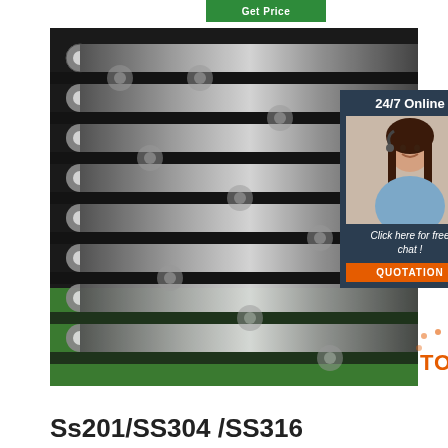[Figure (other): Green button labeled 'Get Price']
[Figure (photo): Close-up photo of multiple stainless steel round bars/rods arranged in rows, with shiny tips visible. Overlaid with a customer service chat widget showing '24/7 Online', a female agent with headset, 'Click here for free chat!', and an orange 'QUOTATION' button. A 'TOP' badge appears in the lower right of the image.]
Ss201/SS304 /SS316